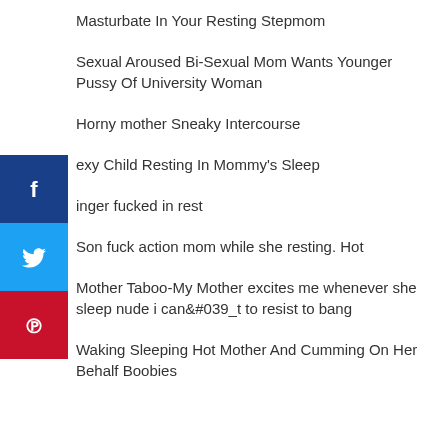Masturbate In Your Resting Stepmom
Sexual Aroused Bi-Sexual Mom Wants Younger Pussy Of University Woman
Horny mother Sneaky Intercourse
exy Child Resting In Mommy's Sleep
inger fucked in rest
Son fuck action mom while she resting. Hot
Mother Taboo-My Mother excites me whenever she sleep nude i can&#039_t to resist to bang
Waking Sleeping Hot Mother And Cumming On Her Behalf Boobies